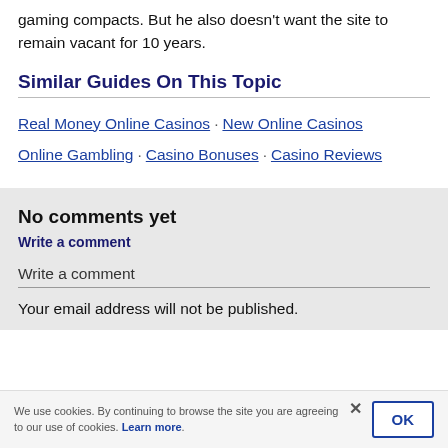gaming compacts. But he also doesn't want the site to remain vacant for 10 years.
Similar Guides On This Topic
Real Money Online Casinos · New Online Casinos Online Gambling · Casino Bonuses · Casino Reviews
No comments yet
Write a comment
Write a comment
Your email address will not be published.
We use cookies. By continuing to browse the site you are agreeing to our use of cookies. Learn more.